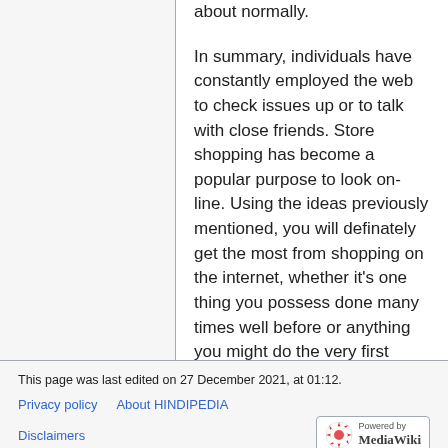about normally.
In summary, individuals have constantly employed the web to check issues up or to talk with close friends. Store shopping has become a popular purpose to look on-line. Using the ideas previously mentioned, you will definately get the most from shopping on the internet, whether it's one thing you possess done many times well before or anything you might do the very first time.
This page was last edited on 27 December 2021, at 01:12.
Privacy policy   About HINDIPEDIA
Disclaimers   Powered by MediaWiki